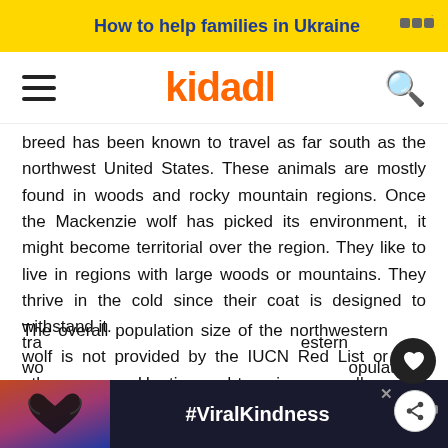How to help families in Ukraine
[Figure (logo): Kidadl logo in orange with hamburger menu and search icon]
breed has been known to travel as far south as the northwest United States. These animals are mostly found in woods and rocky mountain regions. Once the Mackenzie wolf has picked its environment, it might become territorial over the region. They like to live in regions with large woods or mountains. They thrive in the cold since their coat is designed to withstand it.
The overall population size of the northwestern wolf is not provided by the IUCN Red List or other sources. Hunting and trapping, as well as habitat degradation and
tra... estern wo... opulations